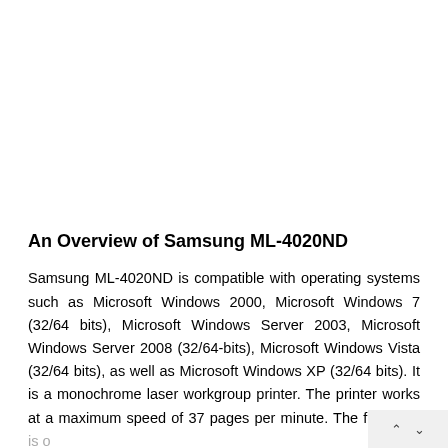An Overview of Samsung ML-4020ND
Samsung ML-4020ND is compatible with operating systems such as Microsoft Windows 2000, Microsoft Windows 7 (32/64 bits), Microsoft Windows Server 2003, Microsoft Windows Server 2008 (32/64-bits), Microsoft Windows Vista (32/64 bits), as well as Microsoft Windows XP (32/64 bits). It is a monochrome laser workgroup printer. The printer works at a maximum speed of 37 pages per minute. The first pr int is o t 5 seconds. The printer works on a simulation at...